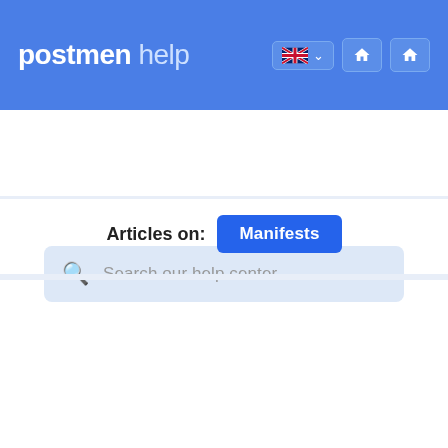postmen help
Search our help center...
Articles on:  Manifests
USPS (Endicia) - Create SCAN Form (5630)
Learn about USPS Scan Form (PS5630), and how to submit USPS Scan Form for your Endicia account via Postmen. Why
Canada Post - Run End of Day Process and Manifest